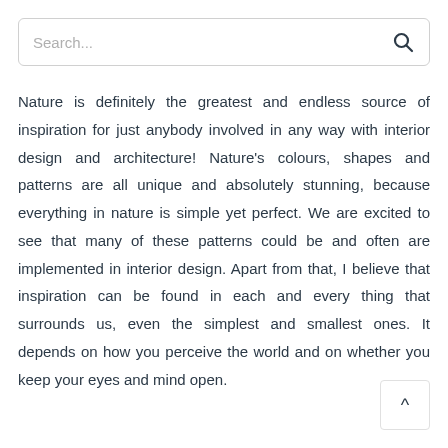[Figure (screenshot): Search bar with placeholder text 'Search...' and a search icon on the right]
Nature is definitely the greatest and endless source of inspiration for just anybody involved in any way with interior design and architecture! Nature's colours, shapes and patterns are all unique and absolutely stunning, because everything in nature is simple yet perfect. We are excited to see that many of these patterns could be and often are implemented in interior design. Apart from that, I believe that inspiration can be found in each and every thing that surrounds us, even the simplest and smallest ones. It depends on how you perceive the world and on whether you keep your eyes and mind open.